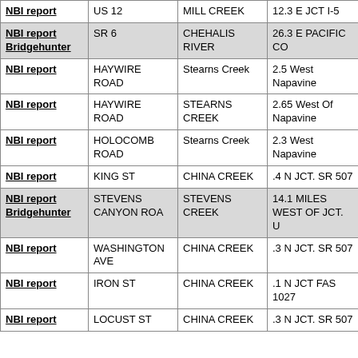| NBI report | US 12 | MILL CREEK | 12.3 E JCT I-5 |
| NBI report
Bridgehunter | SR 6 | CHEHALIS RIVER | 26.3 E PACIFIC CO |
| NBI report | HAYWIRE ROAD | Stearns Creek | 2.5 West Napavine |
| NBI report | HAYWIRE ROAD | STEARNS CREEK | 2.65 West Of Napavine |
| NBI report | HOLOCOMB ROAD | Stearns Creek | 2.3 West Napavine |
| NBI report | KING ST | CHINA CREEK | .4 N JCT. SR 507 |
| NBI report
Bridgehunter | STEVENS CANYON ROA | STEVENS CREEK | 14.1 MILES WEST OF JCT. U |
| NBI report | WASHINGTON AVE | CHINA CREEK | .3 N JCT. SR 507 |
| NBI report | IRON ST | CHINA CREEK | .1 N JCT FAS 1027 |
| NBI report | LOCUST ST | CHINA CREEK | .3 N JCT. SR 507 |